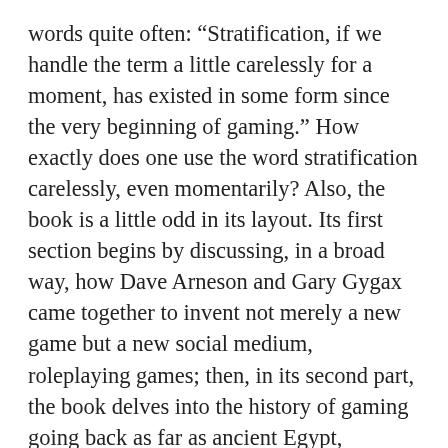words quite often: “Stratification, if we handle the term a little carelessly for a moment, has existed in some form since the very beginning of gaming.” How exactly does one use the word stratification carelessly, even momentarily? Also, the book is a little odd in its layout. Its first section begins by discussing, in a broad way, how Dave Arneson and Gary Gygax came together to invent not merely a new game but a new social medium, roleplaying games; then, in its second part, the book delves into the history of gaming going back as far as ancient Egypt, followed by the third section which brings us back to the early days of TSR and the first few editions of Dungeons & Dragons. But there are no straight lines in Peterson’s book, so the history of Avalon Hill games, the editorship of The General, and